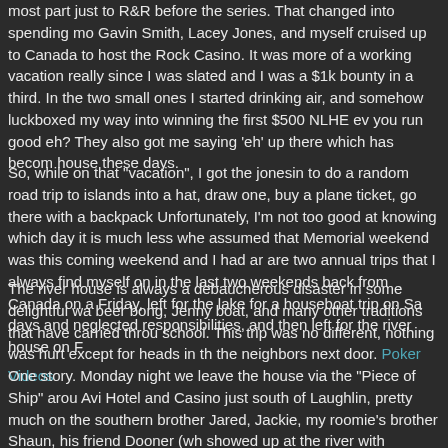most part just to R&R before the series. That changed into spending mo Gavin Smith, Lacey Jones, and myself cruised up to Canada to host the Rock Casino. It was more of a working vacation really since I was slated and I was a $1k bounty in a third. In the two small ones I started drinking air, and somehow luckboxed my way into winning the first $500 NLHE ev you run good eh? They also got me saying 'eh' up there which has becom house these days.
So, while on that "vacation", I got the jonesin to do a random road trip to islands into a hat, draw one, buy a plane ticket, go there with a backpack Unfortunately, I'm not too good at knowing which day it is much less whe assumed that Memorial weekend was this coming weekend and I had ar are two annual trips that I always find myself on in the last two weekends back from Canada on a Friday, left for the lake for a houseboat trip on Sa days and neglected responsibilities, and then left for the river house on F
The river house is always a debaucherous disaster in some delightful wa beer bong, Jenny boat, and many other traditions that have carried throu school. This trip was no different, nothing was hurt except for heads in th the neighbors next door. Poker Videos
One story. Monday night we leave the house via the "Piece of Ship" arou Avi Hotel and Casino just south of Laughlin, pretty much on the southern brother Jared, Jackie, my roomie's brother Shaun, his friend Dooner (wh showed up at the river with snorkeling gear, a harpoon gun, spears, and Doug who is an old friend on vacation from LA, and "Girl on the Couch" A noticed some blonde chick wandering down the dock to the boat, and I'm my friend Lindsey who is probably the most spontaneous traveler I know. the fall of 2005 and we have been friends since. She works for a travel a one of her perks is free travel. Friday she left Minneapolis, flew to Ancho